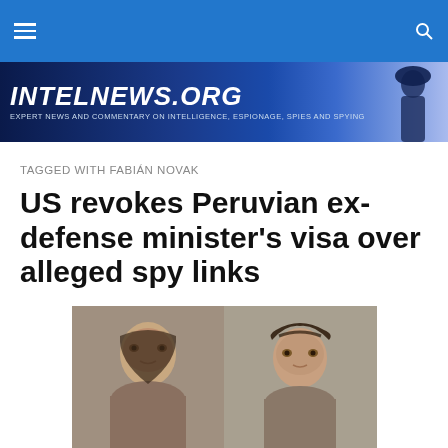INTELNEWS.ORG — Expert news and commentary on intelligence, espionage, spies and spying
TAGGED WITH FABIÁN NOVAK
US revokes Peruvian ex-defense minister's visa over alleged spy links
[Figure (photo): Two mugshot-style photographs side by side: a middle-aged man on the left and a woman on the right, both against a gray background]